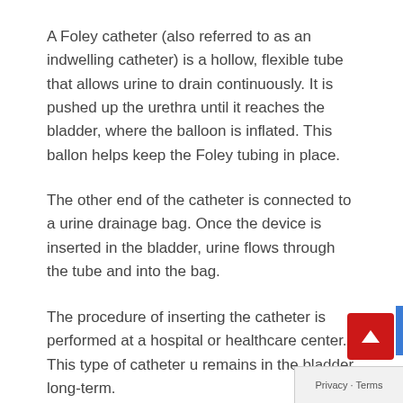A Foley catheter (also referred to as an indwelling catheter) is a hollow, flexible tube that allows urine to drain continuously. It is pushed up the urethra until it reaches the bladder, where the balloon is inflated. This ballon helps keep the Foley tubing in place.
The other end of the catheter is connected to a urine drainage bag. Once the device is inserted in the bladder, urine flows through the tube and into the bag.
The procedure of inserting the catheter is performed at a hospital or healthcare center. This type of catheter u… remains in the bladder long-term.